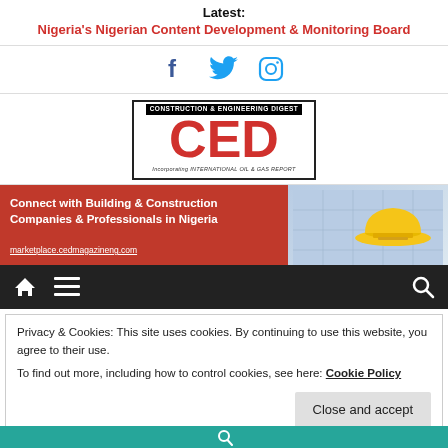Latest:
Nigeria's Nigerian Content Development & Monitoring Board
[Figure (logo): Social media icons: Facebook, Twitter, Instagram]
[Figure (logo): CED - Construction & Engineering Digest magazine logo incorporating International Oil & Gas Report]
[Figure (infographic): Red banner ad: Connect with Building & Construction Companies & Professionals in Nigeria - marketplace.cedmagazineng.com, with yellow hard hat image]
[Figure (infographic): Dark navigation bar with home icon, hamburger menu, and search icon]
Privacy & Cookies: This site uses cookies. By continuing to use this website, you agree to their use.
To find out more, including how to control cookies, see here: Cookie Policy
Close and accept